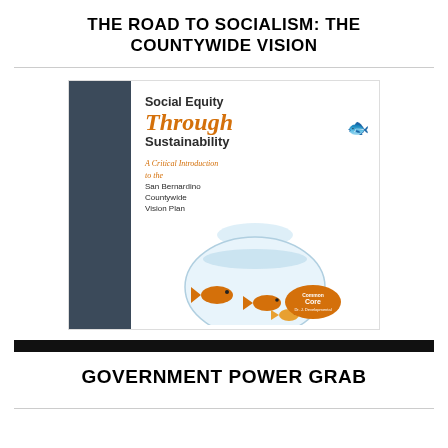THE ROAD TO SOCIALISM: THE COUNTYWIDE VISION
[Figure (photo): Book cover: 'Social Equity Through Sustainability – A Critical Introduction to the San Bernardino Countywide Vision Plan'. Cover shows goldfish in a round fishbowl with one fish leaping out, alongside a dark spine. There is an orange 'Common Core' badge on the bottom right of the cover.]
GOVERNMENT POWER GRAB